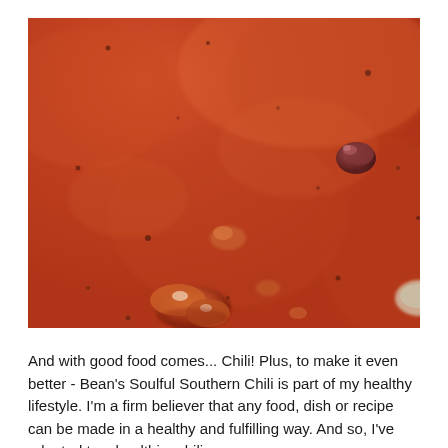[Figure (photo): Close-up macro photograph of chili - a reddish-orange tomato-based stew with visible chunks of ground meat and beans in the sauce.]
And with good food comes... Chili! Plus, to make it even better - Bean's Soulful Southern Chili is part of my healthy lifestyle. I'm a firm believer that any food, dish or recipe can be made in a healthy and fulfilling way. And so, I've adapted to a healthier chili...